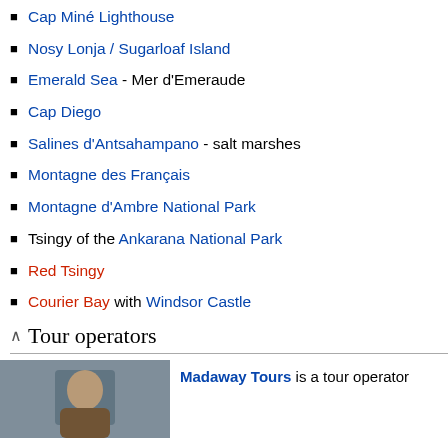Cap Miné Lighthouse
Nosy Lonja / Sugarloaf Island
Emerald Sea - Mer d'Emeraude
Cap Diego
Salines d'Antsahampano - salt marshes
Montagne des Français
Montagne d'Ambre National Park
Tsingy of the Ankarana National Park
Red Tsingy
Courier Bay with Windsor Castle
Tour operators
[Figure (photo): Photo of a person, likely a tour operator representative]
Madaway Tours is a tour operator